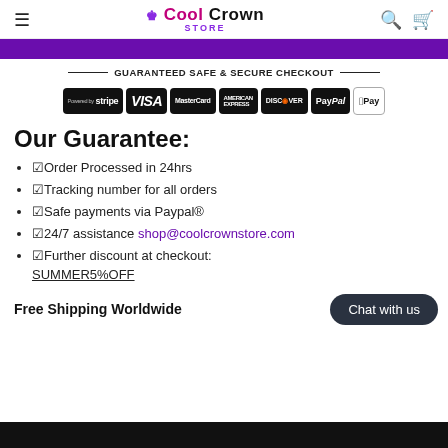Cool Crown STORE
[Figure (screenshot): Purple promotional banner bar]
GUARANTEED SAFE & SECURE CHECKOUT
[Figure (infographic): Payment method badges: Stripe, VISA, MasterCard, American Express, Discover, PayPal, Apple Pay]
Our Guarantee:
☑Order Processed in 24hrs
☑Tracking number for all orders
☑Safe payments via Paypal®
☑24/7 assistance shop@coolcrownstore.com
☑Further discount at checkout: SUMMER5%OFF
Free Shipping Worldwide